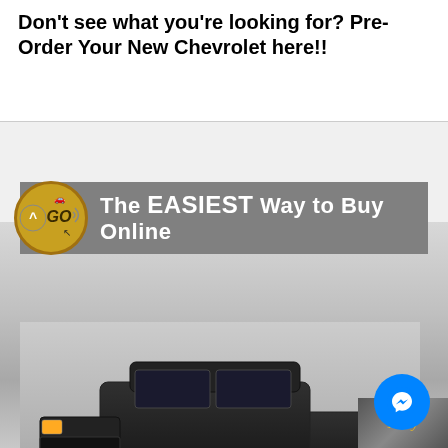Don't see what you're looking for? Pre-Order Your New Chevrolet here!!
[Figure (photo): Advertisement image showing a black Chevrolet Silverado pickup truck with a gray banner reading 'The EASIEST Way to Buy Online', a gold 'UP GO' logo circle on the left, a Facebook Messenger button in the bottom right, and a partial Lally dealership badge at the bottom right corner.]